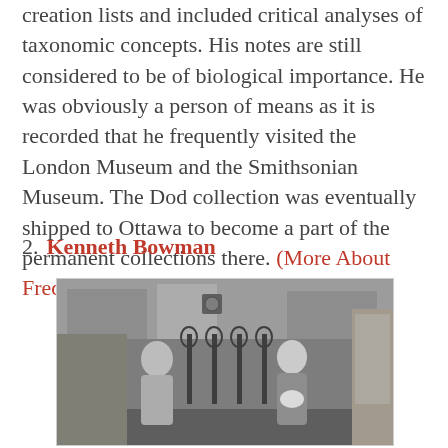creation lists and included critical analyses of taxonomic concepts. His notes are still considered to be of biological importance. He was obviously a person of means as it is recorded that he frequently visited the London Museum and the Smithsonian Museum. The Dod collection was eventually shipped to Ottawa to become a part of the permanent collections there. (More About Frederick Dod including a photo of him.)
2. Kenneth Bowman
[Figure (photo): Black and white photograph of two people standing outside, with buildings and what appears to be ironwork or gate structures in the background.]